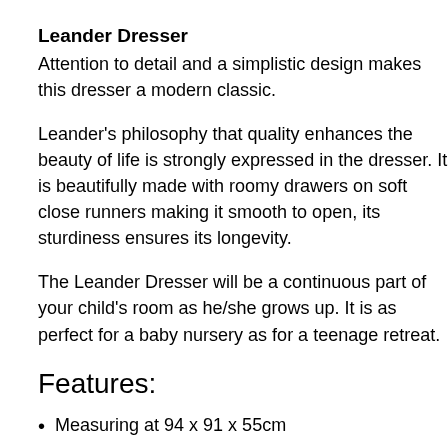Leander Dresser
Attention to detail and a simplistic design makes this dresser a modern classic.
Leander's philosophy that quality enhances the beauty of life is strongly expressed in the dresser. It is beautifully made with roomy drawers on soft close runners making it smooth to open, its sturdiness ensures its longevity.
The Leander Dresser will be a continuous part of your child's room as he/she grows up. It is as perfect for a baby nursery as for a teenage retreat.
Features:
Measuring at 94 x 91 x 55cm
Contemporary felt handles